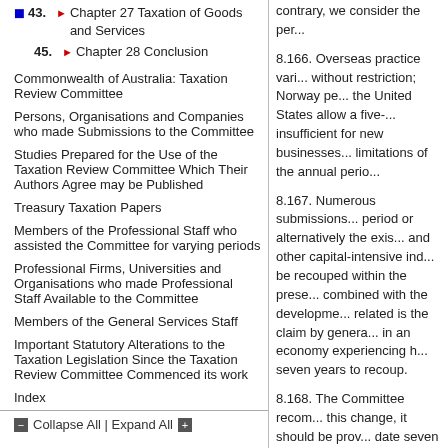43. Chapter 27 Taxation of Goods and Services
45. Chapter 28 Conclusion
Commonwealth of Australia: Taxation Review Committee
Persons, Organisations and Companies who made Submissions to the Committee
Studies Prepared for the Use of the Taxation Review Committee Which Their Authors Agree may be Published
Treasury Taxation Papers
Members of the Professional Staff who assisted the Committee for varying periods
Professional Firms, Universities and Organisations who made Professional Staff Available to the Committee
Members of the General Services Staff
Important Statutory Alterations to the Taxation Legislation Since the Taxation Review Committee Commenced its work
Index
Collapse All | Expand All
contrary, we consider the per...
8.166. Overseas practice vari... without restriction; Norway pe... the United States allow a five-... insufficient for new businesses... limitations of the annual perio...
8.167. Numerous submission... period or alternatively the exis... and other capital-intensive ind... be recouped within the prese... combined with the developme... related is the claim by genera... in an economy experiencing h... seven years to recoup.
8.168. The Committee recom... this change, it should be prov... date seven years prior to the ...
Exempt Income
8.169. The present law requ...